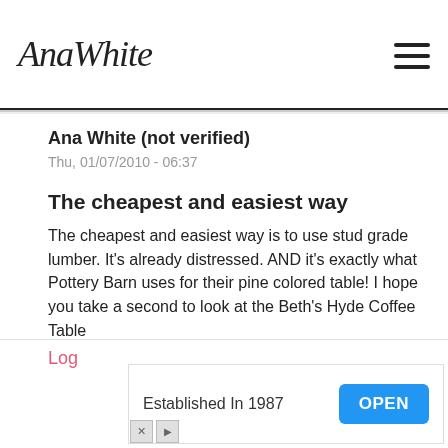Ana White
Ana White (not verified)
Thu, 01/07/2010 - 06:37
The cheapest and easiest way
The cheapest and easiest way is to use stud grade lumber. It's already distressed. AND it's exactly what Pottery Barn uses for their pine colored table! I hope you take a second to look at the Beth's Hyde Coffee Table (http://knockoffwood.blogspot.com/2009/12/bragging-board.html ) and End Table (http://knockoffwood.blogspot.com/search/label/Bragging%20Board) - she used pine and it is beautiful.
Log
Established In 1987
OPEN